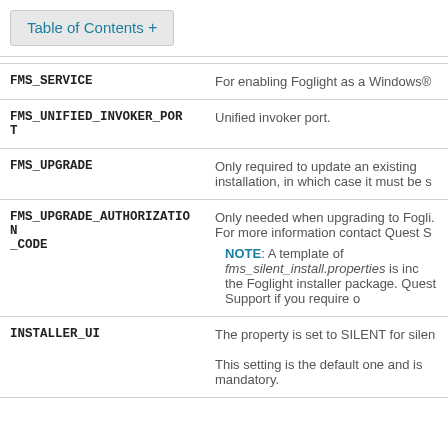Table of Contents +
| Property | Description |
| --- | --- |
| FMS_SERVICE | For enabling Foglight as a Windows® |
| FMS_UNIFIED_INVOKER_PORT | Unified invoker port. |
| FMS_UPGRADE | Only required to update an existing installation, in which case it must be s |
| FMS_UPGRADE_AUTHORIZATION_CODE | Only needed when upgrading to Fogli. For more information contact Quest S. NOTE: A template of fms_silent_install.properties is inc the Foglight installer package. Quest Support if you require o |
| INSTALLER_UI | The property is set to SILENT for silen. This setting is the default one and is mandatory. |